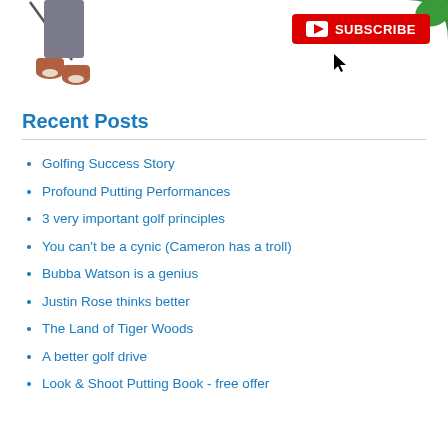[Figure (illustration): Partial illustration of a golfer's lower body and legs, with a golf club visible, wearing gray pants and brown shoes. A green shape is visible in the top right corner.]
[Figure (other): Red YouTube SUBSCRIBE button with play icon and a cursor arrow below it.]
Recent Posts
Golfing Success Story
Profound Putting Performances
3 very important golf principles
You can't be a cynic (Cameron has a troll)
Bubba Watson is a genius
Justin Rose thinks better
The Land of Tiger Woods
A better golf drive
Look & Shoot Putting Book - free offer